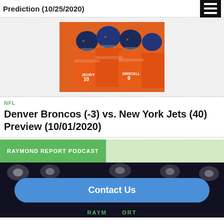Prediction (10/25/2020)
[Figure (photo): Denver Broncos players huddled together in orange uniforms, including players with jerseys JEUDY 10 and DRISCELL 9, wearing navy blue helmets]
NFL
Denver Broncos (-3) vs. New York Jets (40) Preview (10/01/2020)
[Figure (other): Raymond Report Podcast banner with green background and light green section]
[Figure (other): Dark stadium background with stadium lights and a blue Contact Us button, with partial RAYMOND REPORT text at bottom in green]